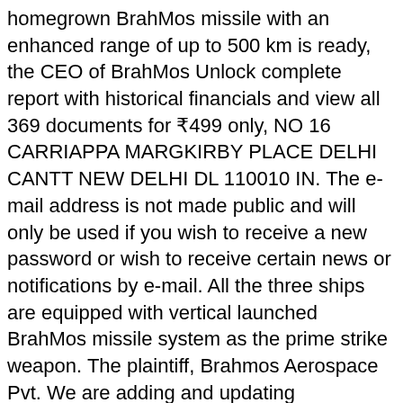homegrown BrahMos missile with an enhanced range of up to 500 km is ready, the CEO of BrahMos Unlock complete report with historical financials and view all 369 documents for ₹499 only, NO 16 CARRIAPPA MARGKIRBY PLACE DELHI CANTT NEW DELHI DL 110010 IN. The e-mail address is not made public and will only be used if you wish to receive a new password or wish to receive certain news or notifications by e-mail. All the three ships are equipped with vertical launched BrahMos missile system as the prime strike weapon. The plaintiff, Brahmos Aerospace Pvt. We are adding and updating information about hundreds of thousands of companies every day, and periodically add companies to the queue for being updated. Ashok Leyland share price trades lower after reporting Q2 loss of Rs 96 crore. Coronavirus News LIVE Updates: 150 people infected by UK variant of COVID-19 in India so far, Fundamental, Stock Ideas, Multibaggers & Insights, Stock & Index F&O Trading Calls & Market Analysis, Positional and Intraday Trading Calls basis Noiseless Chart, Commodity Trading Calls & Market Analysis, Currency